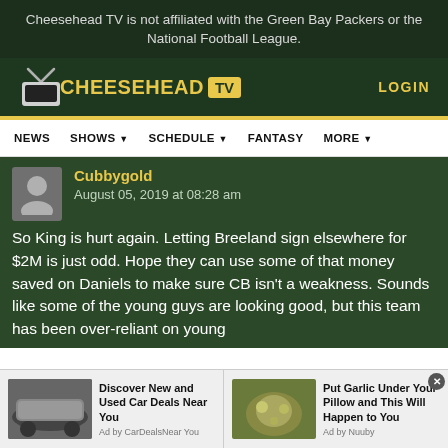Cheesehead TV is not affiliated with the Green Bay Packers or the National Football League.
[Figure (logo): Cheesehead TV logo with yellow text and TV box icon]
LOGIN
NEWS  SHOWS  SCHEDULE  FANTASY  MORE
Cubbygold
August 05, 2019 at 08:28 am
So King is hurt again. Letting Breeland sign elsewhere for $2M is just odd. Hope they can use some of that money saved on Daniels to make sure CB isn't a weakness. Sounds like some of the young guys are looking good, but this team has been over-reliant on young
Discover New and Used Car Deals Near You
Ad by CarDealsNear You
Put Garlic Under Your Pillow and This Will Happen to You
Ad by Nuuby